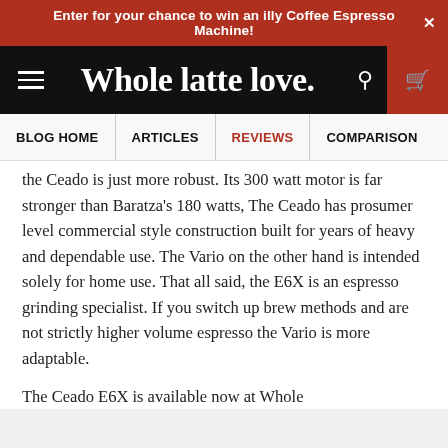Enter for your chance to win an illy Coffee Espresso Machine! ×
[Figure (logo): Whole latte love. site logo with hamburger menu, search icon, and cart icon on black header background]
BLOG HOME | ARTICLES | REVIEWS | COMPARISON
the Ceado is just more robust. Its 300 watt motor is far stronger than Baratza's 180 watts, The Ceado has prosumer level commercial style construction built for years of heavy and dependable use. The Vario on the other hand is intended solely for home use. That all said, the E6X is an espresso grinding specialist. If you switch up brew methods and are not strictly higher volume espresso the Vario is more adaptable.
The Ceado E6X is available now at Whole